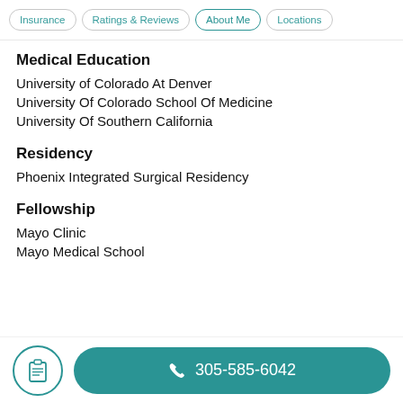Insurance | Ratings & Reviews | About Me | Locations
Medical Education
University of Colorado At Denver
University Of Colorado School Of Medicine
University Of Southern California
Residency
Phoenix Integrated Surgical Residency
Fellowship
Mayo Clinic
Mayo Medical School
305-585-6042